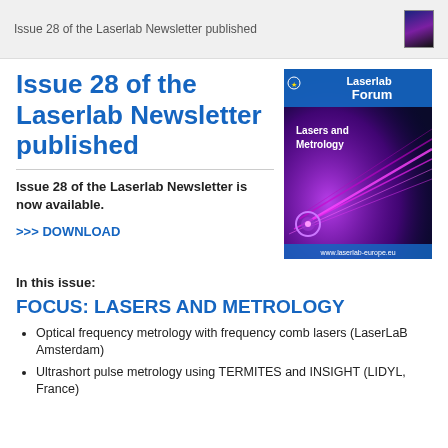Issue 28 of the Laserlab Newsletter published
Issue 28 of the Laserlab Newsletter published
[Figure (illustration): Cover of Laserlab Forum newsletter, issue on Lasers and Metrology, showing purple laser beams, with text 'Laserlab Forum', 'Lasers and Metrology', and 'www.laserlab-europe.eu']
Issue 28 of the Laserlab Newsletter is now available.
>>> DOWNLOAD
In this issue:
FOCUS: LASERS AND METROLOGY
Optical frequency metrology with frequency comb lasers (LaserLaB Amsterdam)
Ultrashort pulse metrology using TERMITES and INSIGHT (LIDYL, France)